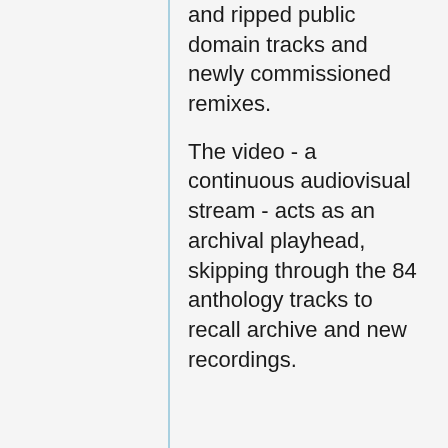and ripped public domain tracks and newly commissioned remixes. The video - a continuous audiovisual stream - acts as an archival playhead, skipping through the 84 anthology tracks to recall archive and new recordings.